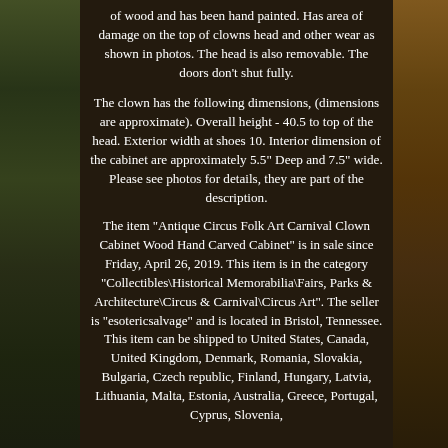[Figure (photo): Dark brown background with partial photos of wooden carved cabinet on left and right edges]
of wood and has been hand painted. Has area of damage on the top of clowns head and other wear as shown in photos. The head is also removable. The doors don't shut fully.
The clown has the following dimensions, (dimensions are approximate). Overall height - 40.5 to top of the head. Exterior width at shoes 10. Interior dimension of the cabinet are approximately 5.5" Deep and 7.5" wide. Please see photos for details, they are part of the description.
The item "Antique Circus Folk Art Carnival Clown Cabinet Wood Hand Carved Cabinet" is in sale since Friday, April 26, 2019. This item is in the category "Collectibles\Historical Memorabilia\Fairs, Parks & Architecture\Circus & Carnival\Circus Art". The seller is "esotericsalvage" and is located in Bristol, Tennessee. This item can be shipped to United States, Canada, United Kingdom, Denmark, Romania, Slovakia, Bulgaria, Czech republic, Finland, Hungary, Latvia, Lithuania, Malta, Estonia, Australia, Greece, Portugal, Cyprus, Slovenia,